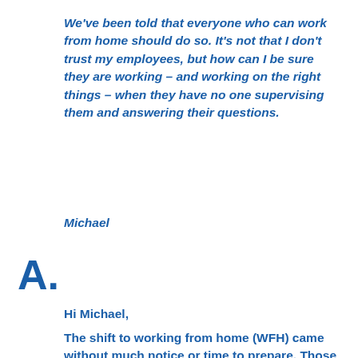We've been told that everyone who can work from home should do so. It's not that I don't trust my employees, but how can I be sure they are working – and working on the right things – when they have no one supervising them and answering their questions.
Michael
A.
Hi Michael,
The shift to working from home (WFH) came without much notice or time to prepare. Those CEOs who are still the key decision-makers, who haven't delegated, don't have a plan, and aren't